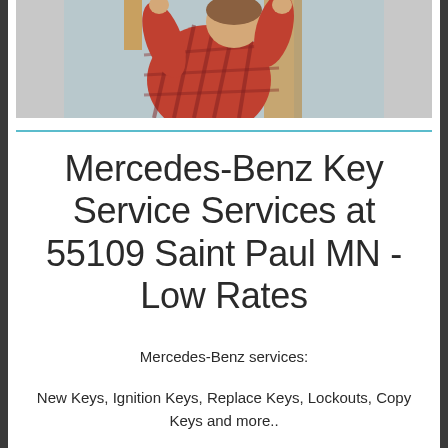[Figure (photo): Person in a red plaid shirt working on something overhead, photographed from behind/side angle, with wooden elements visible]
Mercedes-Benz Key Service Services at 55109 Saint Paul MN - Low Rates
Mercedes-Benz services:
New Keys, Ignition Keys, Replace Keys, Lockouts, Copy Keys and more..